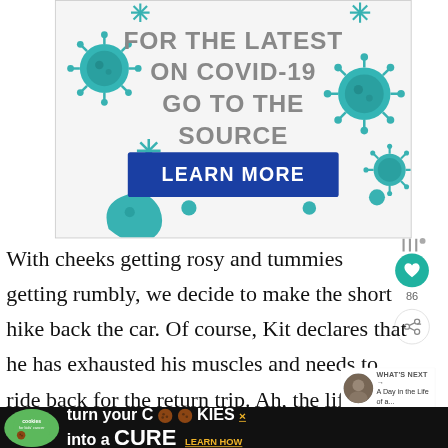[Figure (infographic): COVID-19 advertisement banner with coronavirus illustrations and text 'FOR THE LATEST ON COVID-19 GO TO THE SOURCE' with a blue 'LEARN MORE' button]
With cheeks getting rosy and tummies getting rumbly, we decide to make the short hike back the car. Of course, Kit declares that he has exhausted his muscles and needs to ride back for the return trip. Ah, the life of a sherpa.
[Figure (infographic): Bottom advertisement banner: 'cookies for kids cancer — turn your COOKIES into a CURE LEARN HOW']